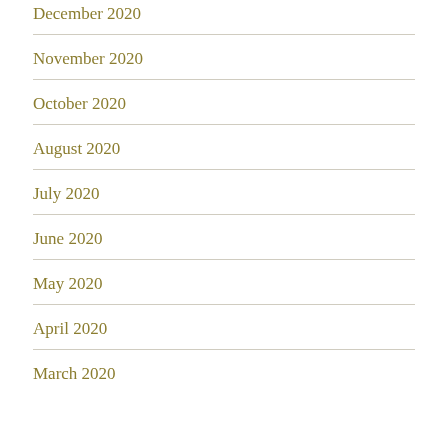December 2020
November 2020
October 2020
August 2020
July 2020
June 2020
May 2020
April 2020
March 2020